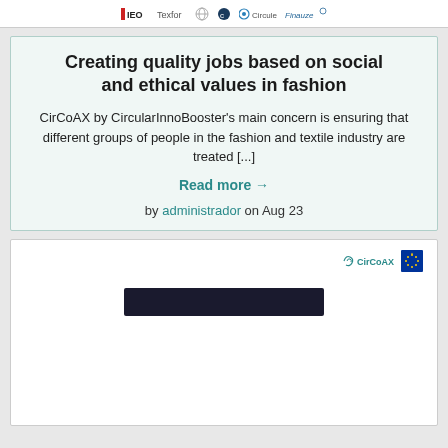IED | Texfor | [logos] | Circulab | Finauze
Creating quality jobs based on social and ethical values in fashion
CirCoAX by CircularInnoBooster's main concern is ensuring that different groups of people in the fashion and textile industry are treated [...]
Read more →
by administrador  on Aug 23
[Figure (screenshot): CirCoAX logo with EU emblem in top right, and a screenshot of a video/webinar interface below]